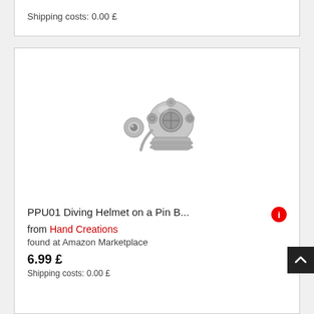Shipping costs: 0.00 £
[Figure (photo): A silver diving helmet pin badge with a separate pin fitting component shown next to it]
PPU01 Diving Helmet on a Pin B... from Hand Creations
found at Amazon Marketplace
6.99 £
Shipping costs: 0.00 £